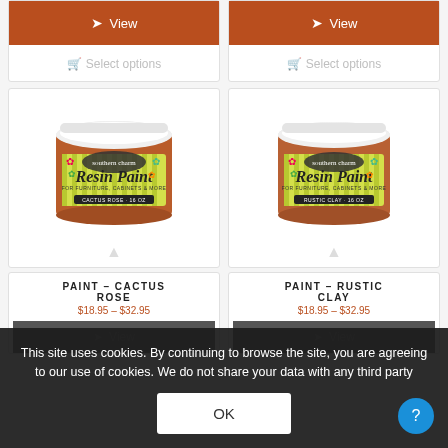[Figure (photo): Two product cards at top showing rust/terracotta colored paint jars with View buttons and Select options links]
View
Select options
View
Select options
[Figure (photo): Resin Paint jar labeled CACTUS ROSE 16 OZ, terracotta/rust color, white lid, decorative flower label]
[Figure (photo): Resin Paint jar labeled RUSTIC CLAY 16 OZ, terracotta/rust color, white lid, decorative flower label]
PAINT – CACTUS ROSE
$18.95 – $32.95
PAINT – RUSTIC CLAY
$18.95 – $32.95
View
View
This site uses cookies. By continuing to browse the site, you are agreeing to our use of cookies. We do not share your data with any third party
OK